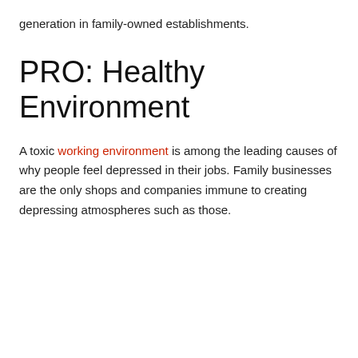generation in family-owned establishments.
PRO: Healthy Environment
A toxic working environment is among the leading causes of why people feel depressed in their jobs. Family businesses are the only shops and companies immune to creating depressing atmospheres such as those.